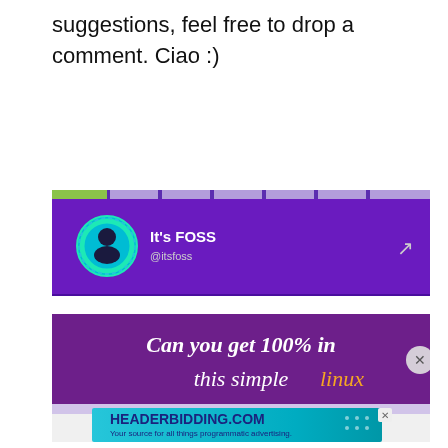suggestions, feel free to drop a comment. Ciao :)
[Figure (screenshot): It's FOSS YouTube channel card with purple header, profile icon, channel name 'It's FOSS' and handle '@itsfoss', share icon. Below is a purple thumbnail with white and yellow italic text 'Can you get 100% in this simple linux' partially visible. At the bottom is a HEADERBIDDING.COM advertisement banner with teal/aqua background and text 'Your source for all things programmatic advertising.']